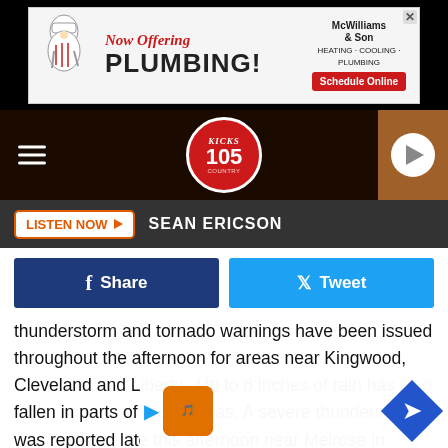[Figure (screenshot): Advertisement banner for McWilliams & Son plumbing: 'Now Offering PLUMBING! Schedule Online']
[Figure (logo): Kicks 105 radio station logo and site header with hamburger menu and play button]
LISTEN NOW  SEAN ERICSON
[Figure (infographic): Facebook Share and Twitter Tweet social sharing buttons]
thunderstorm and tornado warnings have been issued throughout the afternoon for areas near Kingwood, Cleveland and Liberty.  Up to 8 inches of rain has also fallen in parts of those areas. A severe thunderstorm was reported late this afternoon near Melrose in eastern Nacogdoches County. Winds gusting up to 60 mph as well as scattered areas of hail were reported with this storm in eastern Nacogdoches, wester ... ties. No ma ...